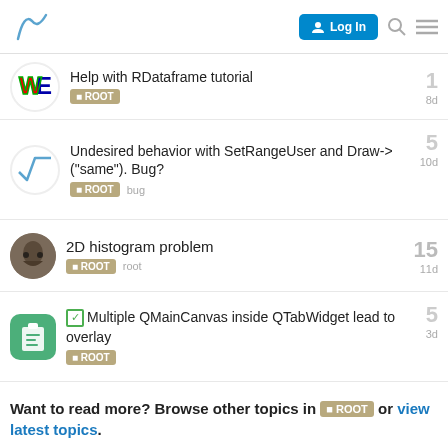Log In
Help with RDataframe tutorial | ROOT | 1 | 8d
Undesired behavior with SetRangeUser and Draw->("same"). Bug? | ROOT | bug | 5 | 10d
2D histogram problem | ROOT | root | 15 | 11d
[solved] Multiple QMainCanvas inside QTabWidget lead to overlay | ROOT | 5 | 3d
Want to read more? Browse other topics in ROOT or view latest topics.